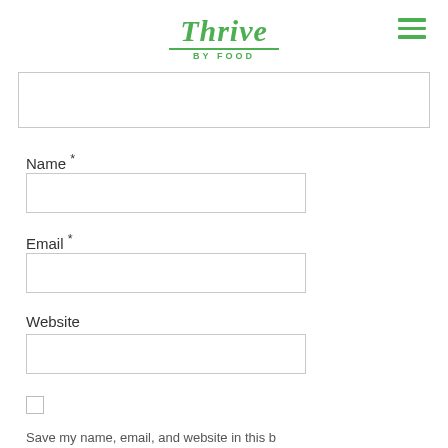Thrive BY FOOD
Name *
Email *
Website
Save my name, email, and website in this b...